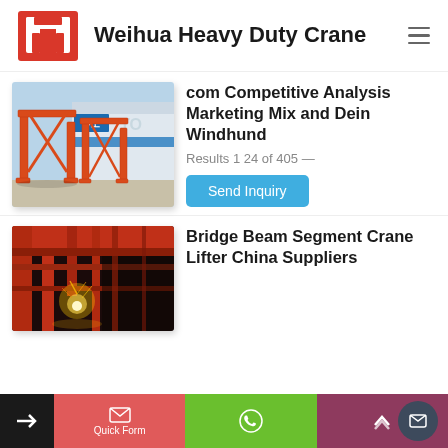Weihua Heavy Duty Crane
[Figure (photo): Red gantry cranes in an outdoor industrial yard with factory building in background]
com Competitive Analysis Marketing Mix and Dein Windhund
Results 1 24 of 405 —
Send Inquiry
[Figure (photo): Indoor industrial photo showing red steel beams and welding sparks inside a factory]
Bridge Beam Segment Crane Lifter China Suppliers
Quick Form | WhatsApp | Up arrow | Mail